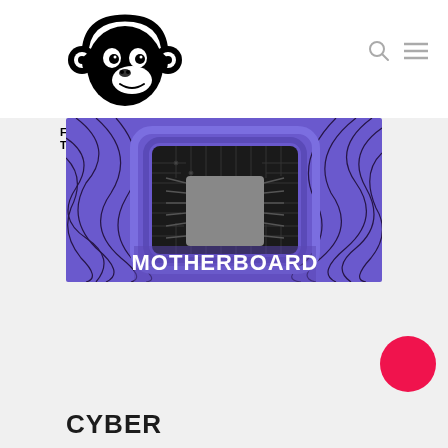[Figure (logo): Find That Pod logo: monkey head with headphones, black and white illustration, with text FIND THAT POD below]
[Figure (illustration): Motherboard podcast cover art: purple swirling background with circuit board chip in center, text MOTHERBOARD in bold white at bottom]
CYBER